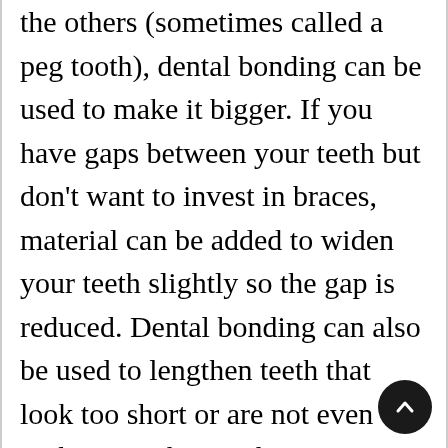the others (sometimes called a peg tooth), dental bonding can be used to make it bigger. If you have gaps between your teeth but don't want to invest in braces, material can be added to widen your teeth slightly so the gap is reduced. Dental bonding can also be used to lengthen teeth that look too short or are not even with your other teeth.

While cases involving tooth decay may include other treatments as part of a